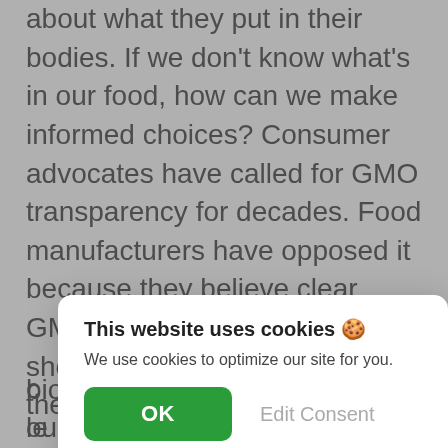about what they put in their bodies. If we don't know what's in our food, how can we make informed choices? Consumer advocates have called for GMO transparency for decades. Food manufacturers have opposed it because they believe clear GMO labeling will cause shoppers will leave products on the shelf.
Companies are unwilling to forgo GMOs because they are extremely profitable. Genetically engineered crops financially benefit food manufacturers because they resist diseases, poison pests, ship long distances with less damage, tolerate rough handling by harvesting machines, resist adverse growing conditions, and limit costs. In addition, because GMO crops are grown in less land with less water and fewer pesticides, they produce higher profits. However, GMO critics question the effects on biodiversity and the safety of our supply...
This website uses cookies 🍪
We use cookies to optimize our site for you.
biodiversity and the safety of our supply